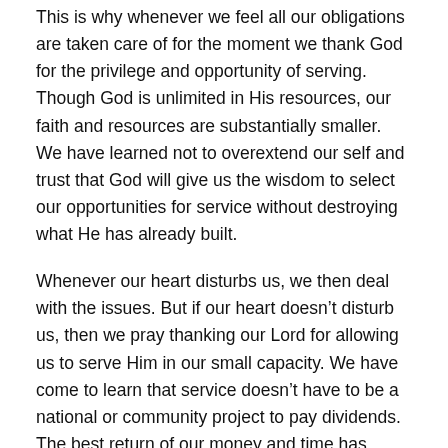This is why whenever we feel all our obligations are taken care of for the moment we thank God for the privilege and opportunity of serving. Though God is unlimited in His resources, our faith and resources are substantially smaller. We have learned not to overextend our self and trust that God will give us the wisdom to select our opportunities for service without destroying what He has already built.

Whenever our heart disturbs us, we then deal with the issues. But if our heart doesn’t disturb us, then we pray thanking our Lord for allowing us to serve Him in our small capacity. We have come to learn that service doesn’t have to be a national or community project to pay dividends. The best return of our money and time has come in small events where someone personally has benefited from God’s grace. As His disciple, we are thankful for His grace